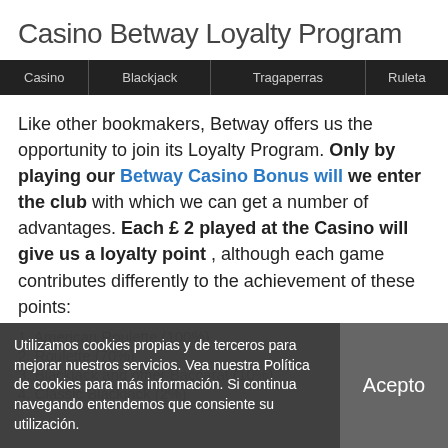Casino Betway Loyalty Program
| Casino | Blackjack | Tragaperras | Ruleta |
| --- | --- | --- | --- |
Like other bookmakers, Betway offers us the opportunity to join its Loyalty Program. Only by playing our Betway Casino Bonus will we enter the club with which we can get a number of advantages. Each £ 2 played at the Casino will give us a loyalty point , although each game contributes differently to the achievement of these points:
1. American Roulette (100%)
2. Roulette (70%)
3. Blackjack and other Baccarat (10%)
4. Classic Blackjack (2%)
Utilizamos cookies propias y de terceros para mejorar nuestros servicios. Vea nuestra Política de cookies para más información. Si continua navegando entendemos que consiente su utilización.